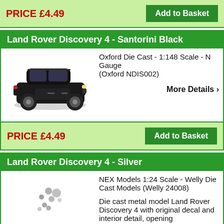PRICE £4.49
Add to Basket
Land Rover Discovery 4 - Santorini Black
[Figure (photo): Black Land Rover Discovery 4 die cast model car, side/front view]
Oxford Die Cast - 1:148 Scale - N Gauge (Oxford NDIS002)
More Details ›
PRICE £4.49
Add to Basket
Land Rover Discovery 4 - Silver
[Figure (photo): Loading spinner/dots placeholder for silver Land Rover Discovery 4 image]
NEX Models 1:24 Scale - Welly Die Cast Models (Welly 24008)
Die cast metal model Land Rover Discovery 4 with original decal and interior detail, opening